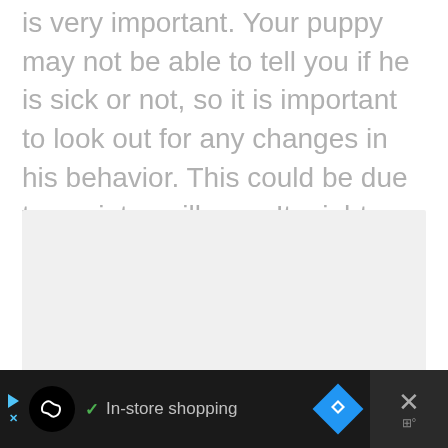is very important. Your puppy may not be able to tell you if he is sick or not, so it is important to look out for any changes in his behavior. This could be due to anxiety or illness. It might also show signs of a bladder infection. Observe the appearance of your puppy, particularly his eyes. They should be clear and white around the iris.
[Figure (photo): Image placeholder area (light gray rectangle) with a slideshow indicator showing three dots below it]
[Figure (screenshot): Mobile advertisement bar at the bottom: dark background with a small play icon and X, a black circle logo with infinity-like symbol, a checkmark and 'In-store shopping' text, a blue diamond navigation icon, and an X close button with a weather/temperature icon on the far right panel.]